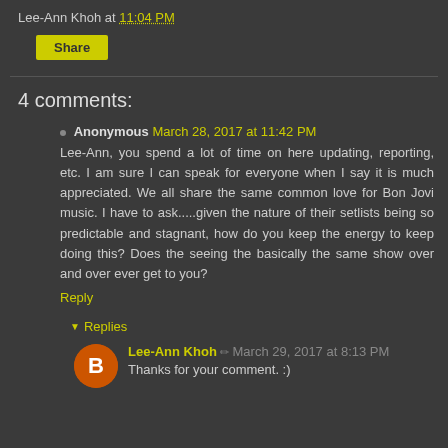Lee-Ann Khoh at 11:04 PM
Share
4 comments:
Anonymous March 28, 2017 at 11:42 PM
Lee-Ann, you spend a lot of time on here updating, reporting, etc. I am sure I can speak for everyone when I say it is much appreciated. We all share the same common love for Bon Jovi music. I have to ask.....given the nature of their setlists being so predictable and stagnant, how do you keep the energy to keep doing this? Does the seeing the basically the same show over and over ever get to you?
Reply
Replies
Lee-Ann Khoh March 29, 2017 at 8:13 PM
Thanks for your comment. :)